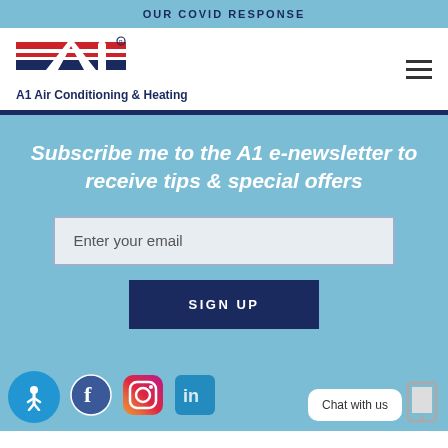OUR COVID RESPONSE
[Figure (logo): A1 Air Conditioning & Heating logo with stylized A1 and red/blue stripes]
A1 Air Conditioning & Heating
Subscribe me to the A1 e-newsletter to receive tips & special offers
Enter your email
SIGN UP
Chat with us